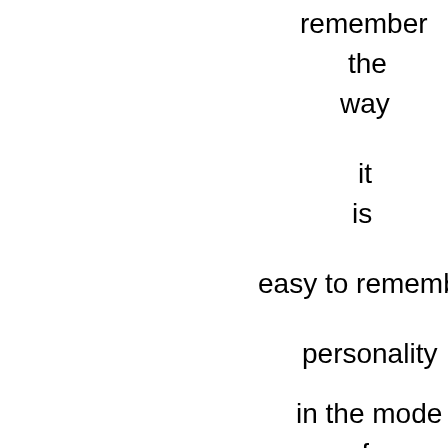remember
the
way

it
is

easy to rememb

personality

in the mode

of

ignorance